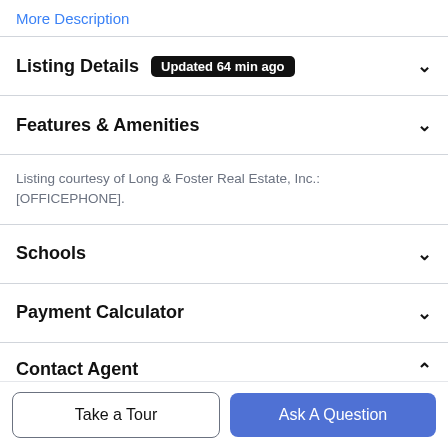More Description
Listing Details  Updated 64 min ago
Features & Amenities
Listing courtesy of Long & Foster Real Estate, Inc.: [OFFICEPHONE].
Schools
Payment Calculator
Contact Agent
Take a Tour
Ask A Question